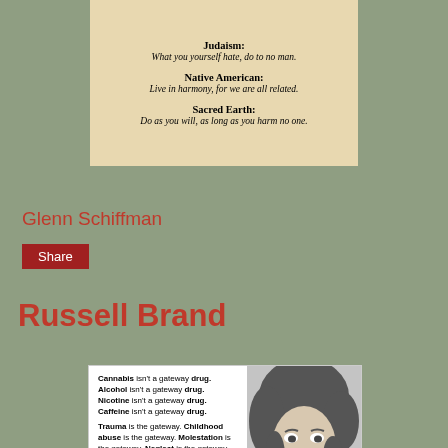[Figure (photo): Photograph of a book page showing religious quotes: Judaism: 'What you yourself hate, do to no man.' Native American: 'Live in harmony, for we are all related.' Sacred Earth: 'Do as you will, as long as you harm no one.']
Glenn Schiffman
Share
Russell Brand
[Figure (photo): Image of Russell Brand with text: Cannabis isn't a gateway drug. Alcohol isn't a gateway drug. Nicotine isn't a gateway drug. Caffeine isn't a gateway drug. Trauma is the gateway. Childhood abuse is the gateway. Molestation is the gateway. Neglect is the gateway. Drug abuse, violent behavior, hyper sexuality and self harm are often symptoms (not the cause) of]